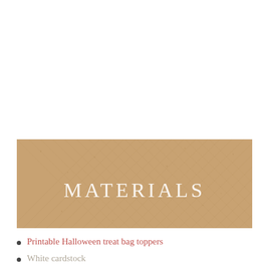[Figure (illustration): A textured burlap/kraft paper background banner with the word MATERIALS centered in white serif uppercase letters]
Printable Halloween treat bag toppers
White cardstock